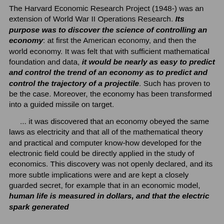The Harvard Economic Research Project (1948-) was an extension of World War II Operations Research. Its purpose was to discover the science of controlling an economy: at first the American economy, and then the world economy. It was felt that with sufficient mathematical foundation and data, it would be nearly as easy to predict and control the trend of an economy as to predict and control the trajectory of a projectile. Such has proven to be the case. Moreover, the economy has been transformed into a guided missile on target.
... it was discovered that an economy obeyed the same laws as electricity and that all of the mathematical theory and practical and computer know-how developed for the electronic field could be directly applied in the study of economics. This discovery was not openly declared, and its more subtle implications were and are kept a closely guarded secret, for example that in an economic model, human life is measured in dollars, and that the electric spark generated